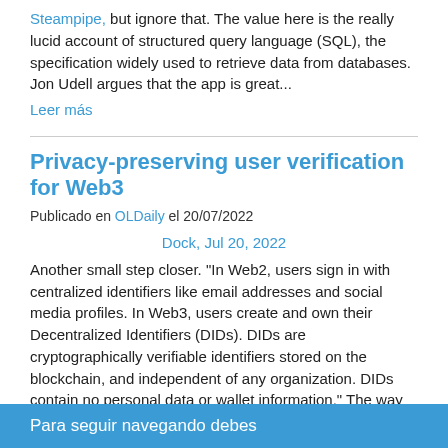Steampipe, but ignore that. The value here is the really lucid account of structured query language (SQL), the specification widely used to retrieve data from databases. Jon Udell argues that the app is great...
Leer más
Privacy-preserving user verification for Web3
Publicado en OLDaily el 20/07/2022
Dock, Jul 20, 2022
Another small step closer. "In Web2, users sign in with centralized identifiers like email addresses and social media profiles. In Web3, users create and own their Decentralized Identifiers (DIDs). DIDs are cryptographically verifiable identifiers stored on the blockchain, and independent of any organization. DIDs contain no personal data or wallet information." The way this works is...
Leer más
Para seguir navegando debes